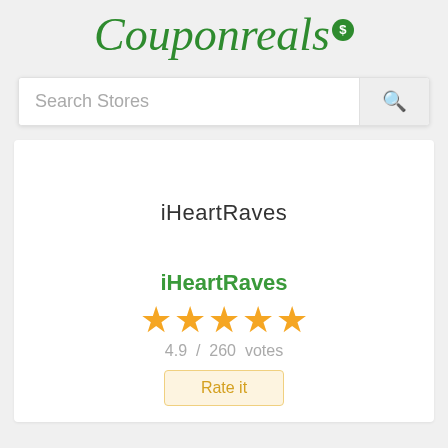Couponreals $
Search Stores
iHeartRaves
iHeartRaves
[Figure (other): 5 orange star rating icons]
4.9 / 260 votes
Rate it